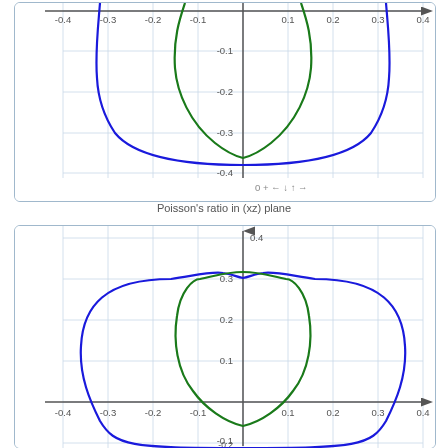[Figure (continuous-plot): Poisson's ratio polar plot in the (xz) plane. Two curves: a blue outer curve and a green inner curve, both symmetric about the vertical axis. The plot shows values from -0.4 to 0.4 on both axes. The curves extend upward beyond the plot boundary at the top. Visible range on y-axis: 0 (top, cropped) to -0.4 at bottom. x-axis range: -0.4 to 0.4.]
Poisson’s ratio in (xz) plane
[Figure (continuous-plot): Poisson's ratio polar plot in a second plane. Two curves: a blue outer curve and a green inner curve, both symmetric. The plot shows values from -0.4 to 0.4 on both axes. The y-axis shows 0.4 at top, then 0.3, 0.2, 0.1, 0 (x-axis), -0.1, -0.2 visible. x-axis range: -0.4 to 0.4. The curves are cut off at the bottom.]